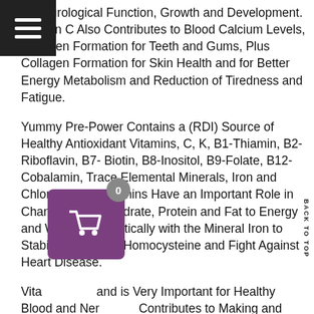[Figure (other): Hamburger menu icon button — black square with three white horizontal lines]
n, Neurological Function, Growth and Development. Vitamin C Also Contributes to Blood Calcium Levels, Collagen Formation for Teeth and Gums, Plus Collagen Formation for Skin Health and for Better Energy Metabolism and Reduction of Tiredness and Fatigue.
Yummy Pre-Power Contains a (RDI) Source of Healthy Antioxidant Vitamins, C, K, B1-Thiamin, B2-Riboflavin, B7-Biotin, B8-Inositol, B9-Folate, B12-Cobalamin, Trace Elemental Minerals, Iron and Chlorophyll. B Vitamins Have an Important Role in Changing Carbohydrate, Protein and Fat to Energy and Work Synergistically with the Mineral Iron to Stabilise Levels of Homocysteine and Fight Against Heart Disease.
Vita and is Very Important for Healthy Blood and Nervous System, Contributes to Making and Functioning Our Genetic Material (DNA). So B12 Impacts Every Cell in the Body Positively, Making Our Immune System Healthier. With One
[Figure (other): Shopping cart widget with purple/mauve background, white cart icon, and grey badge showing 0]
[Figure (other): Back to Top vertical text navigation element on right side]